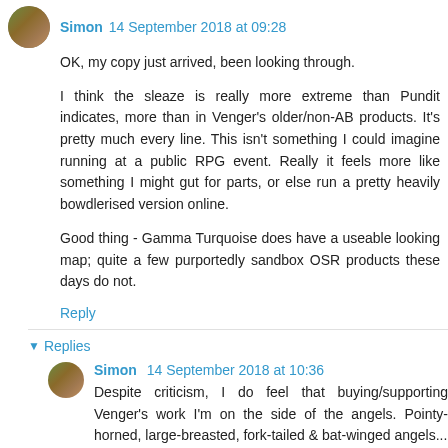Simon 14 September 2018 at 09:28
OK, my copy just arrived, been looking through.
I think the sleaze is really more extreme than Pundit indicates, more than in Venger's older/non-AB products. It's pretty much every line. This isn't something I could imagine running at a public RPG event. Really it feels more like something I might gut for parts, or else run a pretty heavily bowdlerised version online.
Good thing - Gamma Turquoise does have a useable looking map; quite a few purportedly sandbox OSR products these days do not.
Reply
Replies
Simon 14 September 2018 at 10:36
Despite criticism, I do feel that buying/supporting Venger's work I'm on the side of the angels. Pointy-horned, large-breasted, fork-tailed & bat-winged angels...